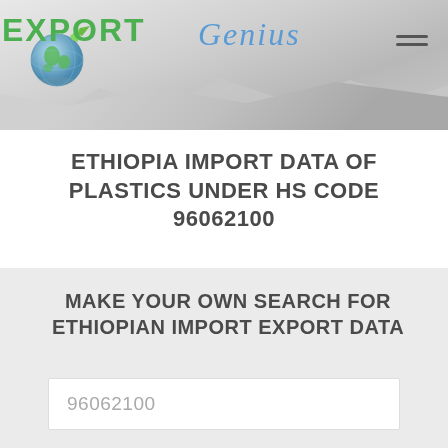[Figure (logo): Export Genius logo with globe icon, green EXPORT text and blue italic GENIUS text]
ETHIOPIA IMPORT DATA OF PLASTICS UNDER HS CODE 96062100
MAKE YOUR OWN SEARCH FOR ETHIOPIAN IMPORT EXPORT DATA
96062100